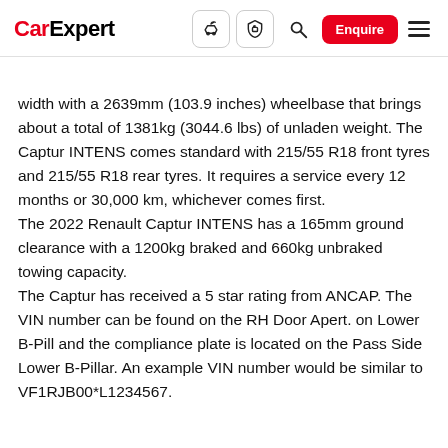CarExpert — navigation bar with icons and Enquire button
width with a 2639mm (103.9 inches) wheelbase that brings about a total of 1381kg (3044.6 lbs) of unladen weight. The Captur INTENS comes standard with 215/55 R18 front tyres and 215/55 R18 rear tyres. It requires a service every 12 months or 30,000 km, whichever comes first.
The 2022 Renault Captur INTENS has a 165mm ground clearance with a 1200kg braked and 660kg unbraked towing capacity.
The Captur has received a 5 star rating from ANCAP. The VIN number can be found on the RH Door Apert. on Lower B-Pill and the compliance plate is located on the Pass Side Lower B-Pillar. An example VIN number would be similar to VF1RJB00*L1234567.